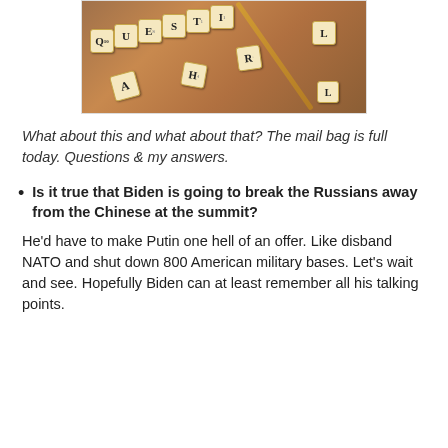[Figure (photo): Photo of Scrabble letter tiles arranged on a wooden surface, with tiles spelling out QUESTI (question) in a row, and other scattered tiles visible including letters A, R, H]
What about this and what about that? The mail bag is full today. Questions & my answers.
Is it true that Biden is going to break the Russians away from the Chinese at the summit?
He'd have to make Putin one hell of an offer. Like disband NATO and shut down 800 American military bases. Let's wait and see. Hopefully Biden can at least remember all his talking points.